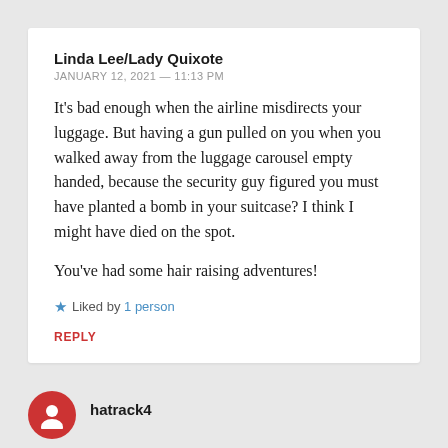Linda Lee/Lady Quixote
JANUARY 12, 2021 — 11:13 PM
It's bad enough when the airline misdirects your luggage. But having a gun pulled on you when you walked away from the luggage carousel empty handed, because the security guy figured you must have planted a bomb in your suitcase? I think I might have died on the spot.
You've had some hair raising adventures!
Liked by 1 person
REPLY
hatrack4